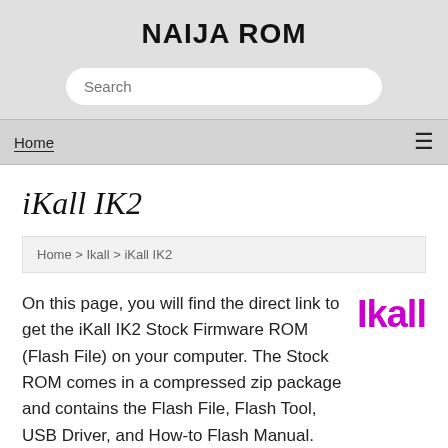NAIJA ROM
Search
Home ☰
iKall IK2
Home > Ikall > iKall IK2
On this page, you will find the direct link to get the iKall IK2 Stock Firmware ROM (Flash File) on your computer. The Stock ROM comes in a compressed zip package and contains the Flash File, Flash Tool, USB Driver, and How-to Flash Manual.
[Figure (logo): Ikall brand logo in magenta/purple bold text]